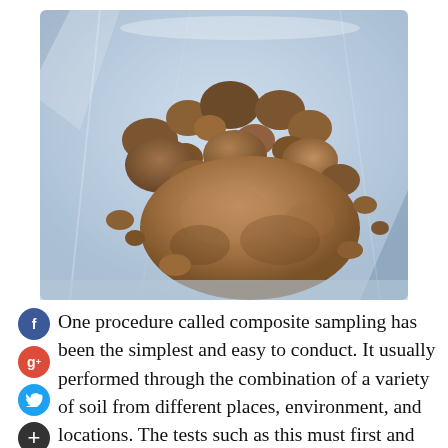[Figure (photo): Close-up photograph of brown soil clumps and aggregates inside a clear plastic bag, showing various sizes of dirt chunks.]
One procedure called composite sampling has been the simplest and easy to conduct. It usually performed through the combination of a variety of soil from different places, environment, and locations. The tests such as this must first and foremost be utilized and performed cautiously. This is to avoid any possible skewing